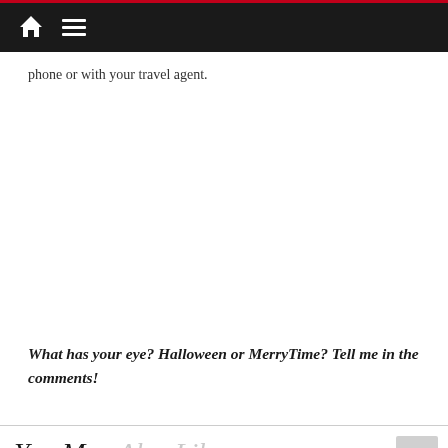navigation bar with home and menu icons
phone or with your travel agent.
What has your eye? Halloween or MerryTime? Tell me in the comments!
You May Also Like...